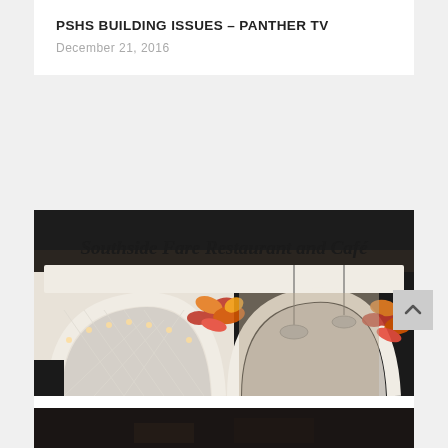PSHS BUILDING ISSUES – PANTHER TV
December 21, 2016
[Figure (photo): Photo of Southside Fare Restaurant and Café storefront with white lattice archways decorated with orange autumn leaves and string lights, pendant lamps visible inside]
SOUTHSIDE FARE CAFE – PANTHER TV
December 21, 2016
[Figure (photo): Partial dark photo at bottom of page, cropped]